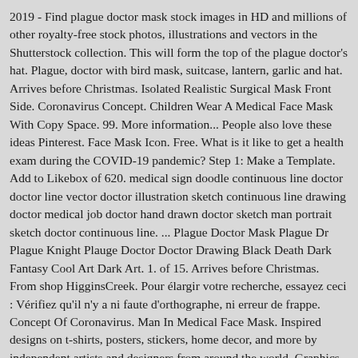2019 - Find plague doctor mask stock images in HD and millions of other royalty-free stock photos, illustrations and vectors in the Shutterstock collection. This will form the top of the plague doctor's hat. Plague, doctor with bird mask, suitcase, lantern, garlic and hat. Arrives before Christmas. Isolated Realistic Surgical Mask Front Side. Coronavirus Concept. Children Wear A Medical Face Mask With Copy Space. 99. More information... People also love these ideas Pinterest. Face Mask Icon. Free. What is it like to get a health exam during the COVID-19 pandemic? Step 1: Make a Template. Add to Likebox of 620. medical sign doodle continuous line doctor doctor line vector doctor illustration sketch continuous line drawing doctor medical job doctor hand drawn doctor sketch man portrait sketch doctor continuous line. ... Plague Doctor Mask Plague Dr Plague Knight Plauge Doctor Doctor Drawing Black Death Dark Fantasy Cool Art Dark Art. 1. of 15. Arrives before Christmas. From shop HigginsCreek. Pour élargir votre recherche, essayez ceci : Vérifiez qu'il n'y a ni faute d'orthographe, ni erreur de frappe. Concept Of Coronavirus. Man In Medical Face Mask. Inspired designs on t-shirts, posters, stickers, home decor, and more by independent artists and designers from around the world. Graphics RF hey.arkana277158 Free. ... FREE Shipping on orders over $25 shipped by Amazon. Some plague doctors wore a special costume.The garments were invented by Charles de L'Orme in 1630